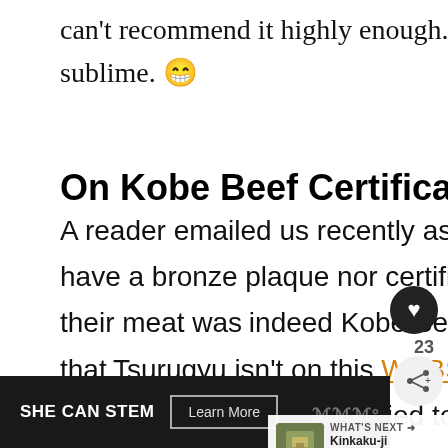can't recommend it highly enough. It truly is…(wait for it)…sublime. 😁
On Kobe Beef Certification
A reader emailed us recently asking why Tsurugyu didn't have a bronze plaque nor certificate guaranteeing that their meat was indeed Kobe Beef. He also pointed out that Tsurugyu isn't on this WEBSITE that lists all the restaurants in Osaka certified to sell Kobe Beef.
[Figure (screenshot): UI overlay with heart/favorite button showing 23 count, share button, and What's Next panel showing Kinkaku-ji (Golden... with a thumbnail image]
[Figure (screenshot): Advertisement banner: SHE CAN STEM with Learn More button on dark background]